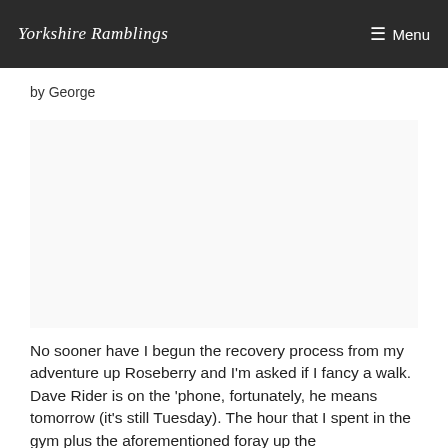Yorkshire Ramblings   ☰ Menu
by George
[Figure (other): Advertisement placeholder (blank/white area)]
No sooner have I begun the recovery process from my adventure up Roseberry and I'm asked if I fancy a walk. Dave Rider is on the 'phone, fortunately, he means tomorrow (it's still Tuesday). The hour that I spent in the gym plus the aforementioned foray up the